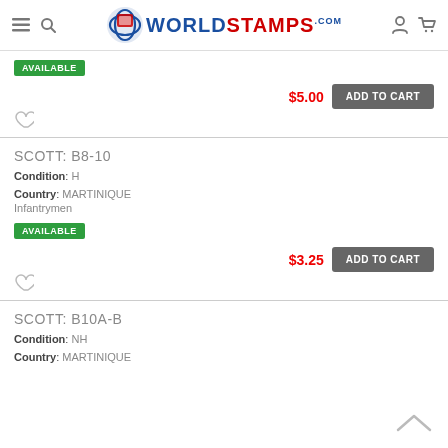WorldStamps.com
AVAILABLE
$5.00  ADD TO CART
SCOTT: B8-10
Condition: H
Country: MARTINIQUE
Infantrymen
AVAILABLE
$3.25  ADD TO CART
SCOTT: B10A-B
Condition: NH
Country: MARTINIQUE